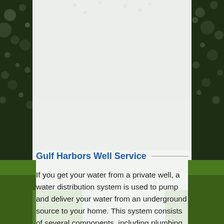[Figure (photo): Background photo of water sprinklers spraying water over green grass, with dark sides and a light/white center area forming the page background. Green grass visible at bottom corners.]
Gulf Harbors Well Service
If you get your water from a private well, a water distribution system is used to pump and deliver your water from an underground source to your home. This system consists of several components, including plumbing, a pressurized storage tank, a control device such as a pressure switch to operate the components and of course, a pump and motor to